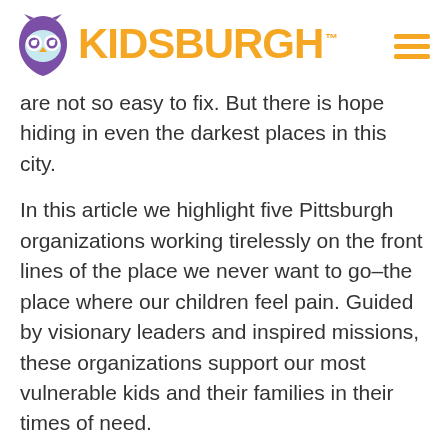KIDSBURGH™
are not so easy to fix. But there is hope hiding in even the darkest places in this city.
In this article we highlight five Pittsburgh organizations working tirelessly on the front lines of the place we never want to go–the place where our children feel pain. Guided by visionary leaders and inspired missions, these organizations support our most vulnerable kids and their families in their times of need.
Spreading birthday cheer: Beverly's Birthdays